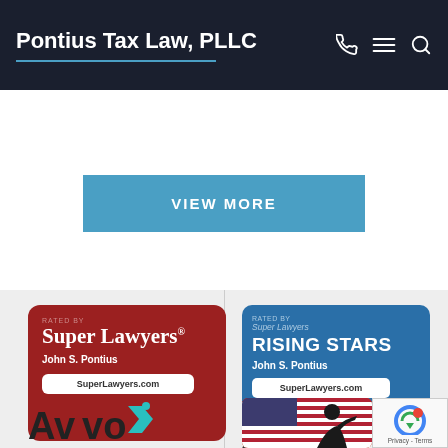Pontius Tax Law, PLLC
VIEW MORE
[Figure (logo): Super Lawyers red badge rated by Super Lawyers, John S. Pontius, SuperLawyers.com]
[Figure (logo): Super Lawyers Rising Stars blue badge, rated by Super Lawyers, John S. Pontius, SuperLawyers.com, 2015 - 2020 Tax Law]
2015 - 2020 Tax Law
[Figure (logo): Avvo logo]
[Figure (photo): American flag with soldier silhouette saluting, framed in orange/gold border]
[Figure (other): reCAPTCHA widget with Privacy - Terms text]